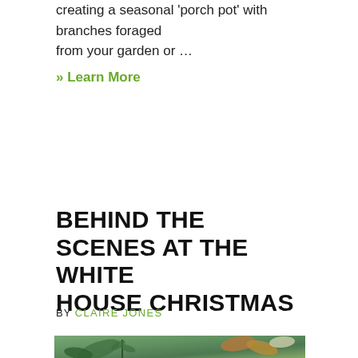creating a seasonal 'porch pot' with branches foraged from your garden or …
» Learn More
BEHIND THE SCENES AT THE WHITE HOUSE CHRISTMAS
BY CLAIRE JONES
[Figure (photo): Photo of Christmas floral/botanical arrangement with leaves, branches, and seasonal greenery on a muted green background]